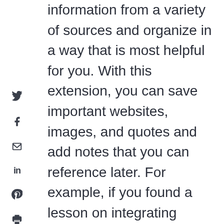information from a variety of sources and organize in a way that is most helpful for you. With this extension, you can save important websites, images, and quotes and add notes that you can reference later. For example, if you found a lesson on integrating quotes in writing that you really like but you have a modification that makes it better tailored to your students, you could add your idea as a note so you don't forget about it.
With Keep, you can also create color-coded checklists with check boxes and set location reminders so the next time you are at the store it will remind you to